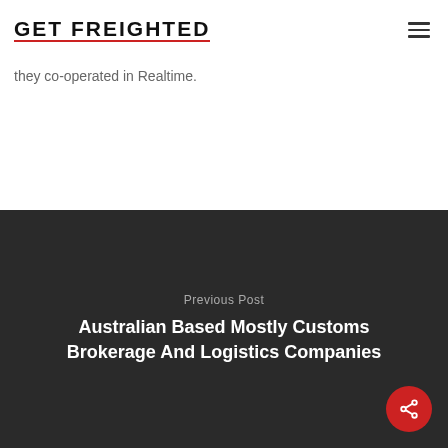GET FREIGHTED
they co-operated in Realtime.
Previous Post
Australian Based Mostly Customs Brokerage And Logistics Companies